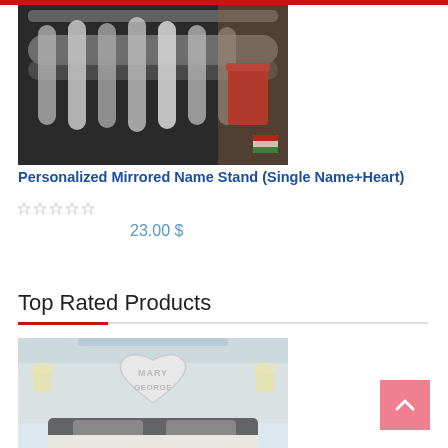[Figure (photo): Close-up photo of mirrored name stand products with metallic/chrome finish, red cups visible in background]
Personalized Mirrored Name Stand (Single Name+Heart)
23.00 $
Top Rated Products
[Figure (photo): Photo of a bedroom wall with a heart-shaped mirrored name stand reading MARY GEORGE mounted above a bed with pillows]